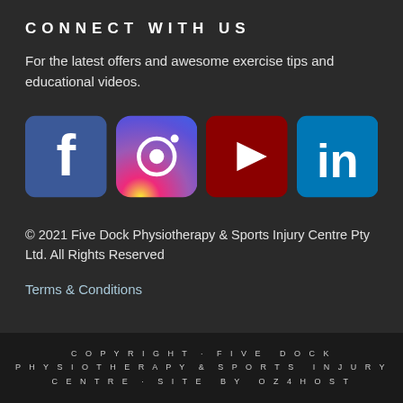CONNECT WITH US
For the latest offers and awesome exercise tips and educational videos.
[Figure (logo): Four social media icons in a row: Facebook (blue rounded square with white f), Instagram (gradient purple-pink-orange rounded square with camera icon), YouTube (dark red rounded square with white play button), LinkedIn (blue rounded square with white 'in')]
© 2021 Five Dock Physiotherapy & Sports Injury Centre Pty Ltd. All Rights Reserved
Terms & Conditions
COPYRIGHT · FIVE DOCK PHYSIOTHERAPY & SPORTS INJURY CENTRE · SITE BY OZ4HOST